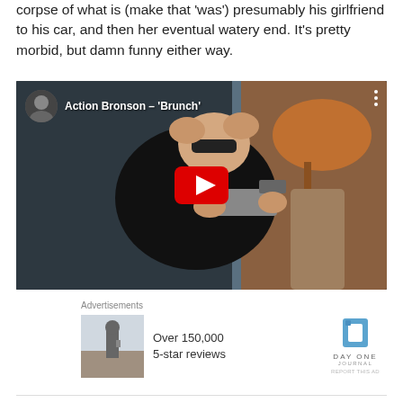corpse of what is (make that 'was') presumably his girlfriend to his car, and then her eventual watery end. It's pretty morbid, but damn funny either way.
[Figure (screenshot): YouTube video thumbnail for 'Action Bronson - Brunch' showing a large man in dark clothing and sunglasses holding a gun, with a YouTube play button overlay and channel avatar in top-left corner.]
Advertisements
[Figure (photo): Advertisement image showing a person from behind looking at a landscape, for Day One Journal app. Text reads: Over 150,000 5-star reviews. Logo: DAY ONE JOURNAL. REPORT THIS AD.]